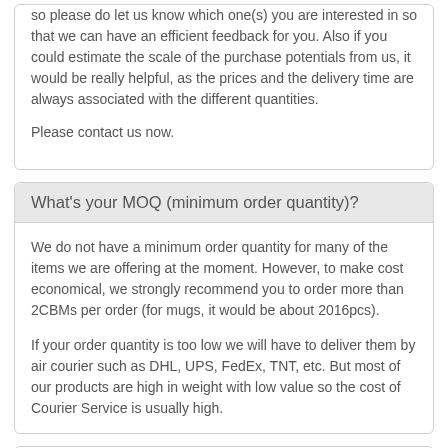so please do let us know which one(s) you are interested in so that we can have an efficient feedback for you. Also if you could estimate the scale of the purchase potentials from us, it would be really helpful, as the prices and the delivery time are always associated with the different quantities.
Please contact us now.
What's your MOQ (minimum order quantity)?
We do not have a minimum order quantity for many of the items we are offering at the moment. However, to make cost economical, we strongly recommend you to order more than 2CBMs per order (for mugs, it would be about 2016pcs).
If your order quantity is too low we will have to deliver them by air courier such as DHL, UPS, FedEx, TNT, etc. But most of our products are high in weight with low value so the cost of Courier Service is usually high.